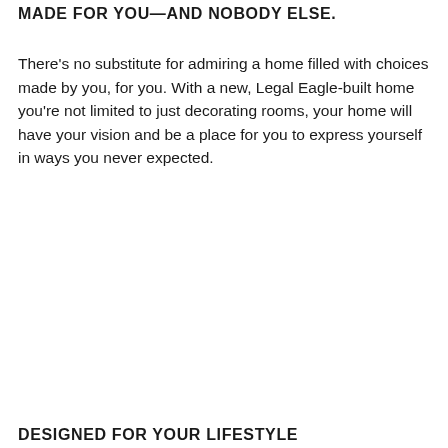MADE FOR YOU—AND NOBODY ELSE.
There's no substitute for admiring a home filled with choices made by you, for you. With a new, Legal Eagle-built home you're not limited to just decorating rooms, your home will have your vision and be a place for you to express yourself in ways you never expected.
DESIGNED FOR YOUR LIFESTYLE